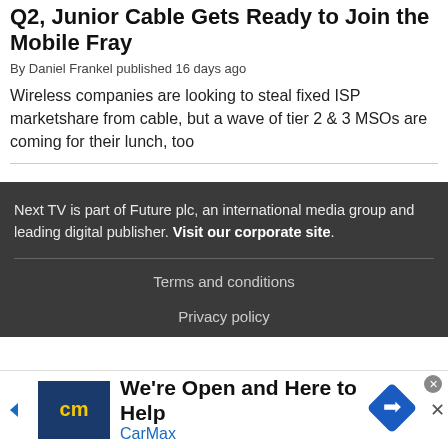Q2, Junior Cable Gets Ready to Join the Mobile Fray
By Daniel Frankel published 16 days ago
Wireless companies are looking to steal fixed ISP marketshare from cable, but a wave of tier 2 & 3 MSOs are coming for their lunch, too
Next TV is part of Future plc, an international media group and leading digital publisher. Visit our corporate site.
Terms and conditions
Privacy policy
[Figure (other): CarMax advertisement banner: We're Open and Here to Help, CarMax logo]